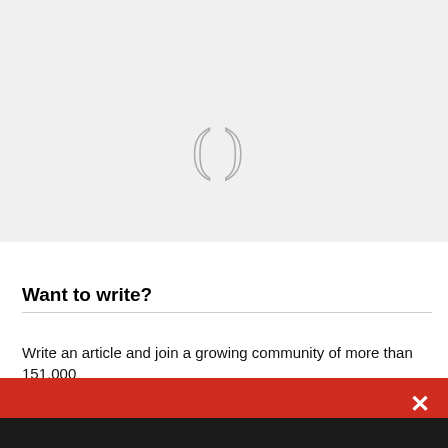[Figure (other): Gray background area with a loading spinner (parenthesis-like arc indicator) in the center]
Want to write?
Write an article and join a growing community of more than 151,000
[Figure (screenshot): Red modal overlay with close (X) button, bold white text reading 'Add evidence-based articles to your news diet. No uninformed pundits. Just experts', and a 'Get our newsletters' button]